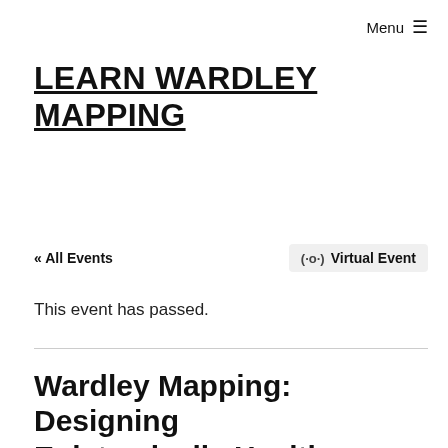Menu ☰
LEARN WARDLEY MAPPING
« All Events
(·) Virtual Event
This event has passed.
Wardley Mapping: Designing Epistemically Healthy